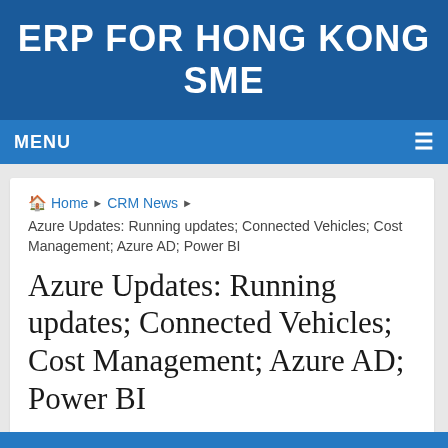ERP FOR HONG KONG SME
MENU
Home ▶ CRM News ▶ Azure Updates: Running updates; Connected Vehicles; Cost Management; Azure AD; Power BI
Azure Updates: Running updates; Connected Vehicles; Cost Management; Azure AD; Power BI
alex.chau@getreach.hk   January 9, 2020   CRM News   No Comments